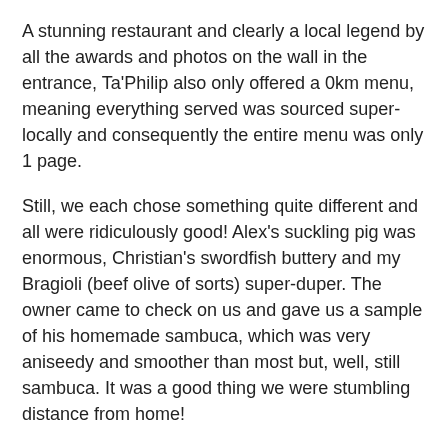A stunning restaurant and clearly a local legend by all the awards and photos on the wall in the entrance, Ta'Philip also only offered a 0km menu, meaning everything served was sourced super-locally and consequently the entire menu was only 1 page.
Still, we each chose something quite different and all were ridiculously good! Alex's suckling pig was enormous, Christian's swordfish buttery and my Bragioli (beef olive of sorts) super-duper. The owner came to check on us and gave us a sample of his homemade sambuca, which was very aniseedy and smoother than most but, well, still sambuca. It was a good thing we were stumbling distance from home!
WEDNESDAY
We'd booked our dive for 11h30 to give us enough time to do something beforehand and to be underwater for the worst heat of the day...